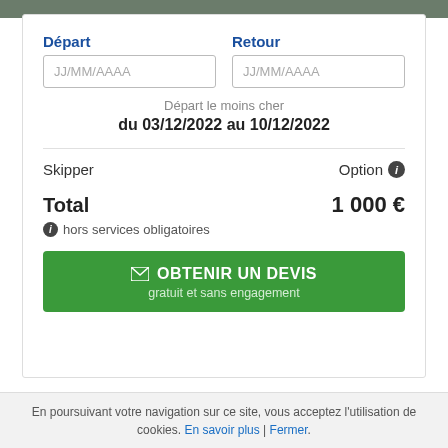Départ
Retour
JJ/MM/AAAA
JJ/MM/AAAA
Départ le moins cher
du 03/12/2022 au 10/12/2022
Skipper
Option ℹ
Total
1 000 €
ℹ hors services obligatoires
✉ OBTENIR UN DEVIS
gratuit et sans engagement
GlobeSailor / Location bateau / Italie / Le Grazie
En poursuivant votre navigation sur ce site, vous acceptez l'utilisation de cookies. En savoir plus | Fermer.